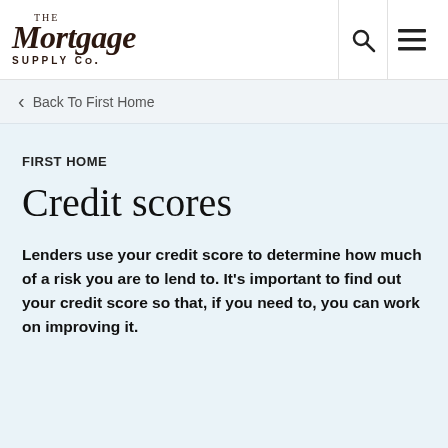The Mortgage Supply Co.
Back To First Home
FIRST HOME
Credit scores
Lenders use your credit score to determine how much of a risk you are to lend to. It's important to find out your credit score so that, if you need to, you can work on improving it.